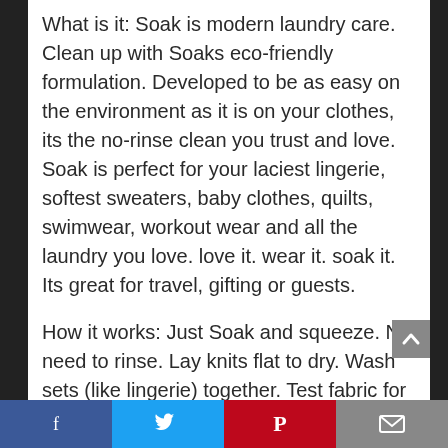What is it: Soak is modern laundry care. Clean up with Soaks eco-friendly formulation. Developed to be as easy on the environment as it is on your clothes, its the no-rinse clean you trust and love. Soak is perfect for your laciest lingerie, softest sweaters, baby clothes, quilts, swimwear, workout wear and all the laundry you love. love it. wear it. soak it. Its great for travel, gifting or guests.
How it works: Just Soak and squeeze. No need to rinse. Lay knits flat to dry. Wash sets (like lingerie) together. Test fabric for color-f...
Facebook | Twitter | Pinterest | Email